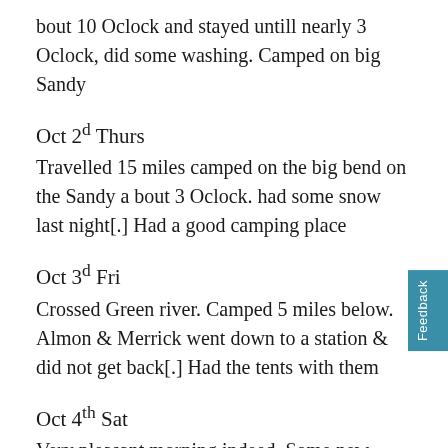bout 10 Oclock and stayed untill nearly 3 Oclock, did some washing. Camped on big Sandy
Oct 2d Thurs
Travelled 15 miles camped on the big bend on the Sandy a bout 3 Oclock. had some snow last night[.] Had a good camping place
Oct 3d Fri
Crossed Green river. Camped 5 miles below. Almon & Merrick went down to a station & did not get back[.] Had the tents with them
Oct 4th Sat
Very pleasant morning indeed. Some new cattle[.] Mr. Perkins mule gone this morning[.] Almon has not got back at noon. Travelled till ½ past 10